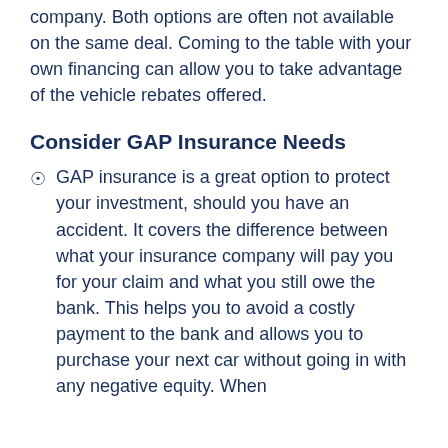company. Both options are often not available on the same deal. Coming to the table with your own financing can allow you to take advantage of the vehicle rebates offered.
Consider GAP Insurance Needs
GAP insurance is a great option to protect your investment, should you have an accident. It covers the difference between what your insurance company will pay you for your claim and what you still owe the bank. This helps you to avoid a costly payment to the bank and allows you to purchase your next car without going in with any negative equity. When